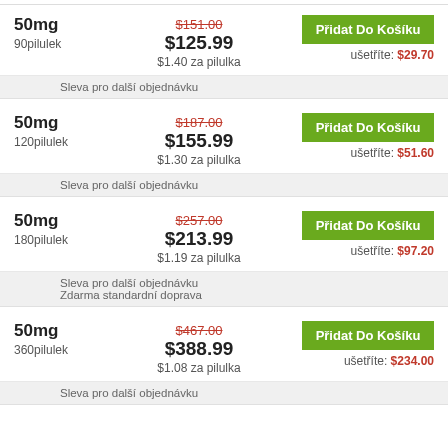| Dose/Qty | Price | Action |
| --- | --- | --- |
| 50mg / 90pilulek | $151.00 crossed / $125.99 / $1.40 za pilulka | Přidat Do Košíku / ušetříte: $29.70 |
| 50mg / 120pilulek | $187.00 crossed / $155.99 / $1.30 za pilulka | Přidat Do Košíku / ušetříte: $51.60 |
| 50mg / 180pilulek | $257.00 crossed / $213.99 / $1.19 za pilulka | Přidat Do Košíku / ušetříte: $97.20 |
| 50mg / 360pilulek | $467.00 crossed / $388.99 / $1.08 za pilulka | Přidat Do Košíku / ušetříte: $234.00 |
Sleva pro další objednávku
Sleva pro další objednávku
Sleva pro další objednávku
Zdarma standardní doprava
Sleva pro další objednávku